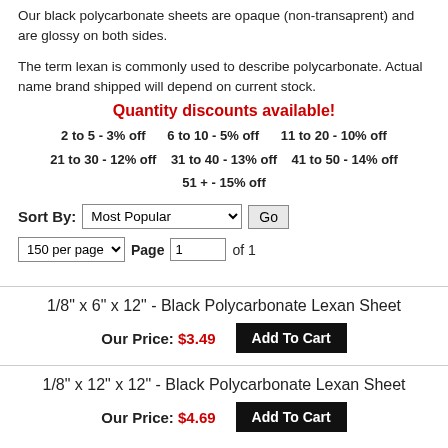Our black polycarbonate sheets are opaque (non-transaprent) and are glossy on both sides.
The term lexan is commonly used to describe polycarbonate. Actual name brand shipped will depend on current stock.
Quantity discounts available!
2 to 5 - 3% off   6 to 10 - 5% off   11 to 20 - 10% off
21 to 30 - 12% off   31 to 40 - 13% off   41 to 50 - 14% off
51 + - 15% off
Sort By: Most Popular  Go
150 per page  Page 1 of 1
1/8" x 6" x 12" - Black Polycarbonate Lexan Sheet
Our Price: $3.49  Add To Cart
1/8" x 12" x 12" - Black Polycarbonate Lexan Sheet
Our Price: $4.69  Add To Cart